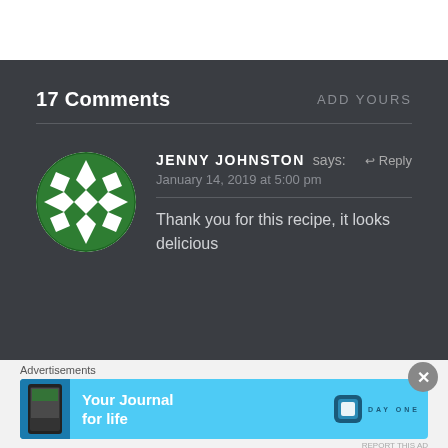17 Comments
ADD YOURS
JENNY JOHNSTON says: ↩ Reply January 14, 2019 at 5:00 pm
Thank you for this recipe, it looks delicious
Advertisements
[Figure (screenshot): Day One app advertisement banner with blue background showing 'Your Journal for life' text and Day One logo]